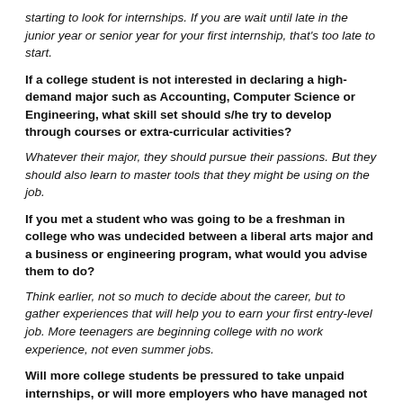starting to look for internships. If you are wait until late in the junior year or senior year for your first internship, that's too late to start.
If a college student is not interested in declaring a high-demand major such as Accounting, Computer Science or Engineering, what skill set should s/he try to develop through courses or extra-curricular activities?
Whatever their major, they should pursue their passions. But they should also learn to master tools that they might be using on the job.
If you met a student who was going to be a freshman in college who was undecided between a liberal arts major and a business or engineering program, what would you advise them to do?
Think earlier, not so much to decide about the career, but to gather experiences that will help you to earn your first entry-level job. More teenagers are beginning college with no work experience, not even summer jobs.
Will more college students be pressured to take unpaid internships, or will more employers who have managed not to pay interns be forced to pay them?